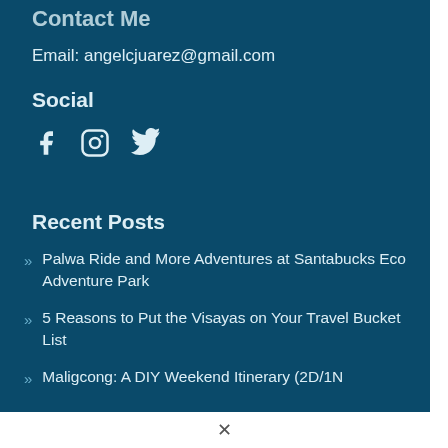Contact Me
Email: angelcjuarez@gmail.com
Social
[Figure (other): Social media icons: Facebook, Instagram, Twitter]
Recent Posts
Palwa Ride and More Adventures at Santabucks Eco Adventure Park
5 Reasons to Put the Visayas on Your Travel Bucket List
Maligcong: A DIY Weekend Itinerary (2D/1N